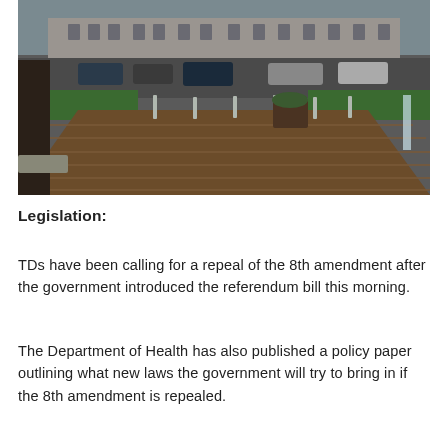[Figure (photo): Outdoor photograph showing a government building exterior with cars parked, bollards along a wooden decked pathway, green grass areas, and a large tree in the foreground. The building in the background appears to be a classical stone government building.]
Legislation:
TDs have been calling for a repeal of the 8th amendment after the government introduced the referendum bill this morning.
The Department of Health has also published a policy paper outlining what new laws the government will try to bring in if the 8th amendment is repealed.